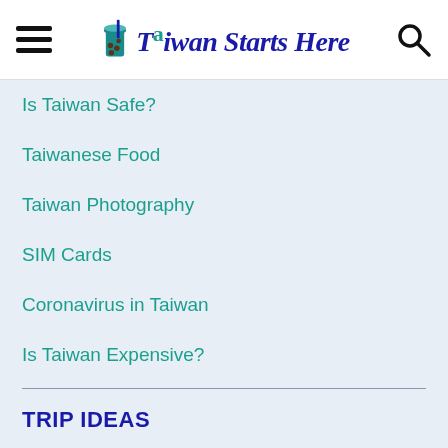Taiwan Starts Here
Is Taiwan Safe?
Taiwanese Food
Taiwan Photography
SIM Cards
Coronavirus in Taiwan
Is Taiwan Expensive?
TRIP IDEAS
One Week in Taiwan
Taiwan Beaches
The Ultimate Taiwan Hiking Trip
Three Days in Taipei
Two Weeks in Taiwan